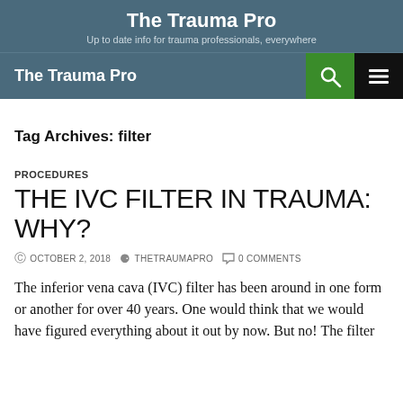The Trauma Pro
Up to date info for trauma professionals, everywhere
The Trauma Pro
Tag Archives: filter
PROCEDURES
THE IVC FILTER IN TRAUMA: WHY?
© OCTOBER 2, 2018   & THETRAUMAPRO   0 COMMENTS
The inferior vena cava (IVC) filter has been around in one form or another for over 40 years. One would think that we would have figured everything about it out by now. But no!  The filter